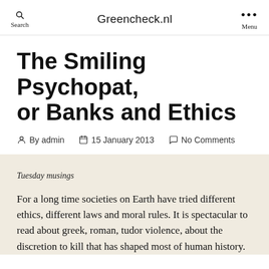Greencheck.nl
The Smiling Psychopat, or Banks and Ethics
By admin  15 January 2013  No Comments
Tuesday musings
For a long time societies on Earth have tried different ethics, different laws and moral rules. It is spectacular to read about greek, roman, tudor violence, about the discretion to kill that has shaped most of human history.